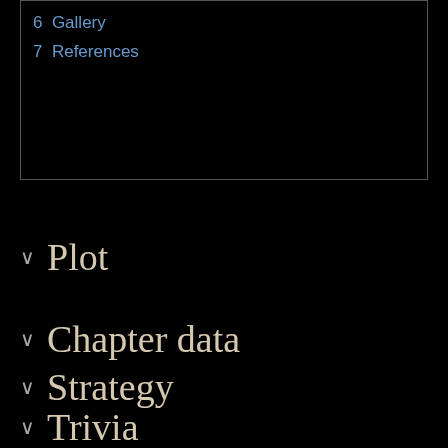6  Gallery
7  References
Plot
Chapter data
Strategy
Trivia